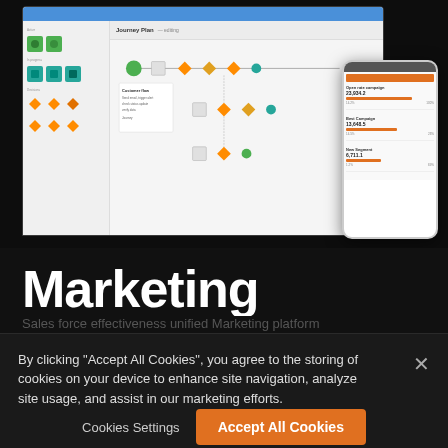[Figure (screenshot): Screenshot of a marketing automation platform showing a Journey Map flowchart on a laptop screen, with a mobile device overlay showing campaign metrics]
Marketing
Sales force effectiveness unified Marketing platform
By clicking "Accept All Cookies", you agree to the storing of cookies on your device to enhance site navigation, analyze site usage, and assist in our marketing efforts.
Cookies Settings
Accept All Cookies